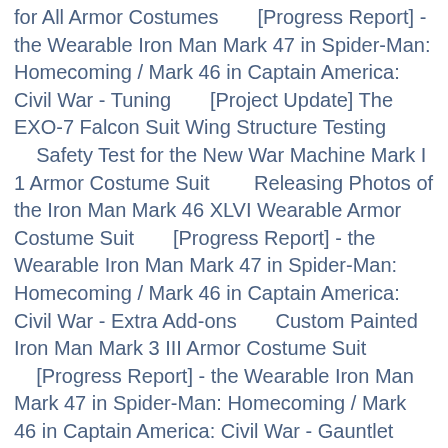for All Armor Costumes       [Progress Report] - the Wearable Iron Man Mark 47 in Spider-Man: Homecoming / Mark 46 in Captain America: Civil War - Tuning       [Project Update] The EXO-7 Falcon Suit Wing Structure Testing       Safety Test for the New War Machine Mark I 1 Armor Costume Suit       Releasing Photos of the Iron Man Mark 46 XLVI Wearable Armor Costume Suit       [Progress Report] - the Wearable Iron Man Mark 47 in Spider-Man: Homecoming / Mark 46 in Captain America: Civil War - Extra Add-ons       Custom Painted Iron Man Mark 3 III Armor Costume Suit       [Progress Report] - the Wearable Iron Man Mark 47 in Spider-Man: Homecoming / Mark 46 in Captain America: Civil War - Gauntlet       Unboxing Video - the Ultra-Realistic Iron Man Armor Mark 46 - You Get What You See       [Progress Report] - the Wearable Iron Man